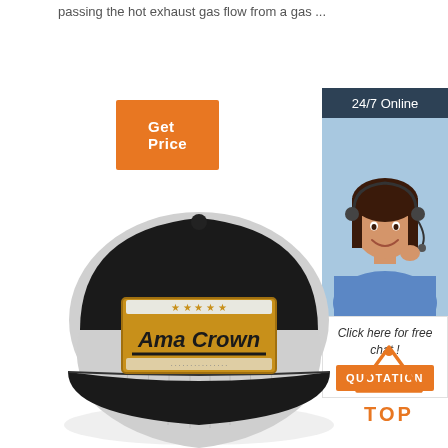passing the hot exhaust gas flow from a gas ...
[Figure (illustration): Orange 'Get Price' button]
[Figure (illustration): 24/7 Online customer service agent with headset, smiling woman in blue shirt, with 'Click here for free chat!' text and orange QUOTATION button]
[Figure (illustration): Black and grey trucker cap with gold/yellow patch reading 'Ama Crown' with stars]
[Figure (illustration): Orange triangle/arrow TOP icon with dot accents and bold orange TOP text]